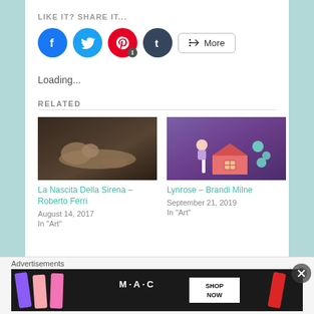LIKE IT? SHARE IT...
[Figure (infographic): Social share buttons: Facebook (blue circle), Twitter (light blue circle), Pinterest (red circle with badge '1'), Tumblr (dark circle), and a More button with share icon]
Loading...
RELATED
[Figure (photo): La Nascita Della Sirena by Roberto Ferri - painting of a reclining nude figure on dark background]
La Nascita Della Sirena – Roberto Ferri
August 14, 2017
In "Art"
[Figure (photo): Lynrose by Brandi Milne - colorful illustration of a pink house with candy and whimsical figures]
Lynrose – Brandi Milne
September 21, 2019
In "Art"
Advertisements
[Figure (photo): MAC cosmetics advertisement showing lipsticks in purple, pink, coral colors with M·A·C logo and SHOP NOW button]